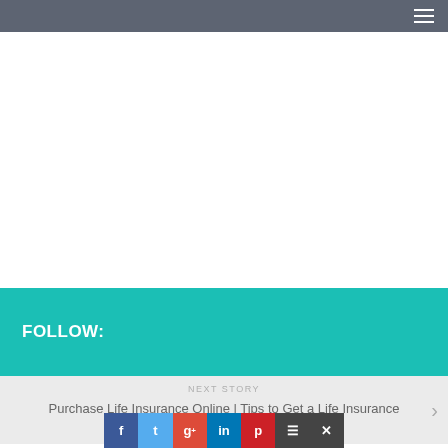FOLLOW:
NEXT STORY
Purchase Life Insurance Online | Tips to Get a Life Insurance Policy Online
f  t  g+  in  p  ≡  x